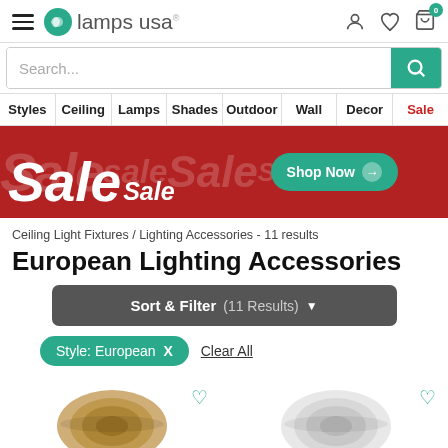[Figure (logo): Lamps USA logo with teal swirl icon and hamburger menu]
[Figure (screenshot): Search bar with teal search button]
Styles | Ceiling | Lamps | Shades | Outdoor | Wall | Decor | Sale
[Figure (infographic): Red sale banner with multiple 'Sale' text overlays and green 'Shop Now' button]
Ceiling Light Fixtures / Lighting Accessories - 11 results
European Lighting Accessories
Sort & Filter (11 Results) ▼
Style: European  X   Clear All
[Figure (photo): Two ceiling medallion product images partially visible at bottom]